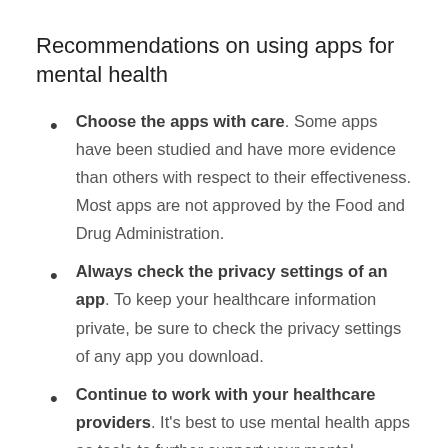Recommendations on using apps for mental health
Choose the apps with care. Some apps have been studied and have more evidence than others with respect to their effectiveness. Most apps are not approved by the Food and Drug Administration.
Always check the privacy settings of an app. To keep your healthcare information private, be sure to check the privacy settings of any app you download.
Continue to work with your healthcare providers. It's best to use mental health apps as tools to further support your mental